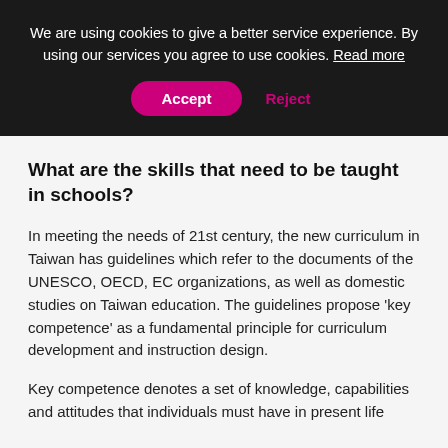We are using cookies to give a better service experience. By using our services you agree to use cookies. Read more
Accept   Reject
What are the skills that need to be taught in schools?
In meeting the needs of 21st century, the new curriculum in Taiwan has guidelines which refer to the documents of the UNESCO, OECD, EC organizations, as well as domestic studies on Taiwan education. The guidelines propose 'key competence' as a fundamental principle for curriculum development and instruction design.
Key competence denotes a set of knowledge, capabilities and attitudes that individuals must have in present life